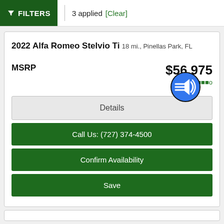FILTERS | 3 applied [Clear]
2022 Alfa Romeo Stelvio Ti
18 mi., Pinellas Park, FL
MSRP  $56,975  from $...o
Details
Call Us: (727) 374-4500
Confirm Availability
Save